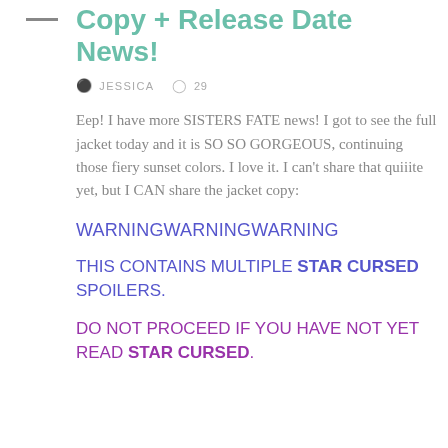Copy + Release Date News!
JESSICA   29
Eep! I have more SISTERS FATE news! I got to see the full jacket today and it is SO SO GORGEOUS, continuing those fiery sunset colors. I love it. I can't share that quiiite yet, but I CAN share the jacket copy:
WARNINGWARNINGWARNING
THIS CONTAINS MULTIPLE STAR CURSED SPOILERS.
DO NOT PROCEED IF YOU HAVE NOT YET READ STAR CURSED.